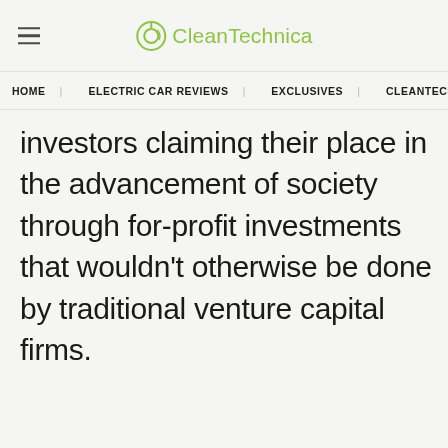CleanTechnica
HOME | ELECTRIC CAR REVIEWS | EXCLUSIVES | CLEANTECHN...
investors claiming their place in the advancement of society through for-profit investments that wouldn't otherwise be done by traditional venture capital firms.